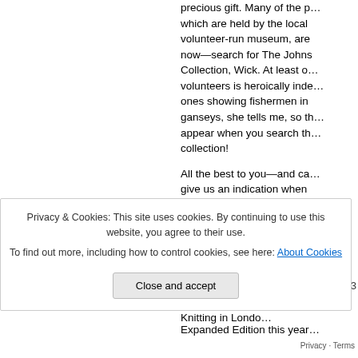precious gift. Many of the p... which are held by the local volunteer-run museum, are now—search for The Johns Collection, Wick. At least o... volunteers is heroically inde... ones showing fishermen in ganseys, she tells me, so th... appear when you search th... collection!
All the best to you—and ca... give us an indication when book's likely to appear…?!
Gordon
Privacy & Cookies: This site uses cookies. By continuing to use this website, you agree to their use.
To find out more, including how to control cookies, see here: About Cookies
Close and accept
Knitting in Londo... Expanded Edition this year...